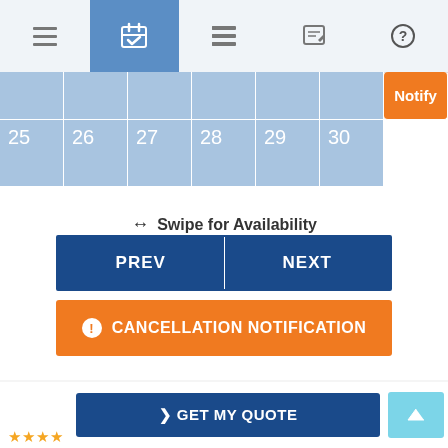[Figure (screenshot): Mobile app navigation bar with 5 tabs: menu (hamburger), calendar (active/highlighted in blue), list, edit, and help icons.]
[Figure (table-as-image): Calendar grid showing dates 25, 26, 27, 28, 29, 30 in light blue cells. One empty white cell and one orange 'Notify' button cell visible.]
↔ Swipe for Availability
PREV
NEXT
CANCELLATION NOTIFICATION
Amenities
> GET MY QUOTE